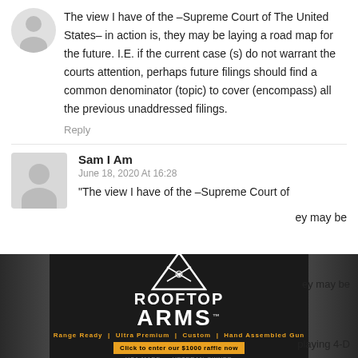The view I have of the –Supreme Court of The United States– in action is, they may be laying a road map for the future. I.E. if the current case (s) do not warrant the courts attention, perhaps future filings should find a common denominator (topic) to cover (encompass) all the previous unaddressed filings.
Reply
Sam I Am
June 18, 2020 At 16:28
"The view I have of the –Supreme Court of
ey may be
[Figure (advertisement): Rooftop Arms advertisement banner with dark background, triangle logo with crossed rifles, brand name ROOFTOP ARMS, tagline Range Ready | Ultra Premium | Custom | Hand Assembled Gun, and raffle call-to-action button.]
playing 4-D